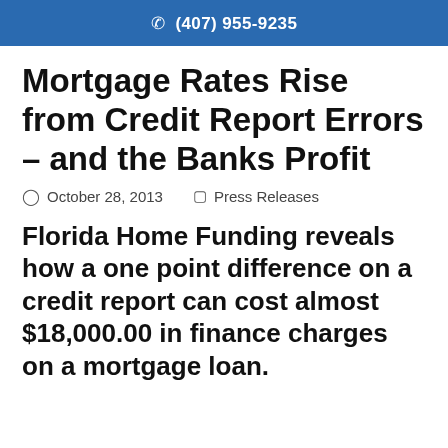(407) 955-9235
Mortgage Rates Rise from Credit Report Errors – and the Banks Profit
October 28, 2013   Press Releases
Florida Home Funding reveals how a one point difference on a credit report can cost almost $18,000.00 in finance charges on a mortgage loan.